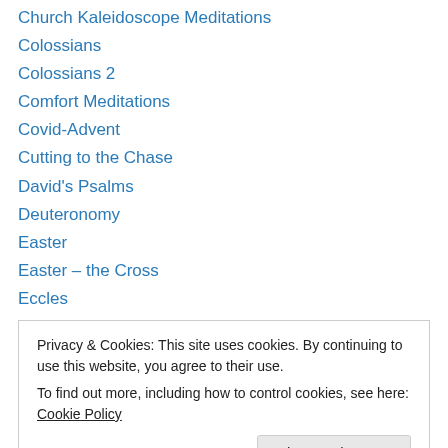Church Kaleidoscope Meditations
Colossians
Colossians 2
Comfort Meditations
Covid-Advent
Cutting to the Chase
David's Psalms
Deuteronomy
Easter
Easter – the Cross
Eccles
Effects of the Cross
Ephesians
Privacy & Cookies: This site uses cookies. By continuing to use this website, you agree to their use.
To find out more, including how to control cookies, see here: Cookie Policy
Gems of the Bible